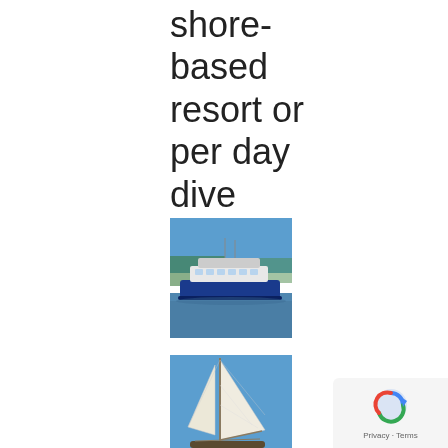shore-based resort or per day dive charter.
[Figure (photo): A large blue and white motor yacht on calm water with trees in the background under a clear blue sky]
[Figure (photo): A sailing vessel with white sails visible from below against a blue sky]